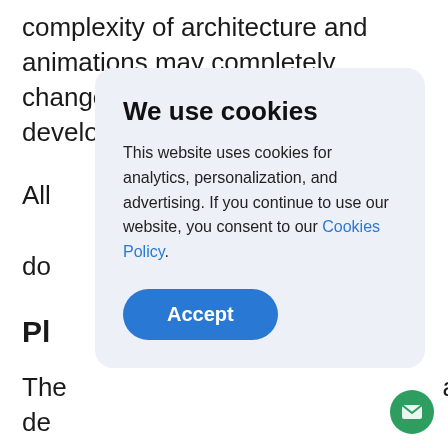complexity of architecture and animations may completely change the final price of software development.
All [truncated by overlay] do[truncated]
Pl[truncated]
The [truncated] are de[truncated] Mo[truncated] pla[truncated] cou[truncated] will vary according to the platform. Do you want
[Figure (screenshot): Cookie consent popup overlay with title 'We use cookies', body text about analytics/personalization/advertising, a blue link 'Cookies Policy', and a blue 'Accept' button. Background shows partially obscured article text about software development pricing.]
[Figure (infographic): Green circular email/chat button in the bottom right corner of the page.]